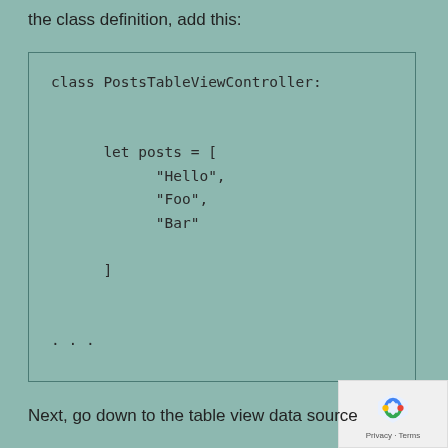the class definition, add this:
[Figure (screenshot): Code block showing Swift class PostsTableViewController with let posts array containing Hello, Foo, Bar strings followed by ellipsis]
Next, go down to the table view data source